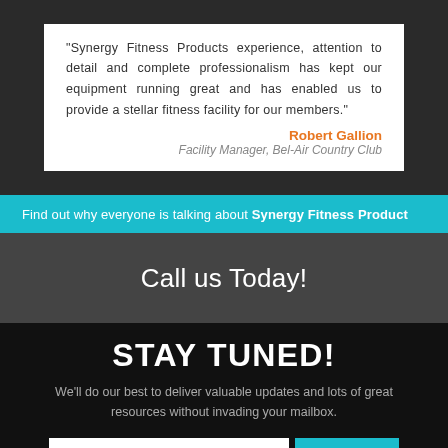"Synergy Fitness Products experience, attention to detail and complete professionalism has kept our equipment running great and has enabled us to provide a stellar fitness facility for our members."
Robert Gallion
Facility Manager, Bel-Air Country Club
Find out why everyone is talking about Synergy Fitness Product
Call us Today!
STAY TUNED!
We'll do our best to deliver valuable updates and lots of great resources without invading your mailbox.
Enter your email  JOIN US